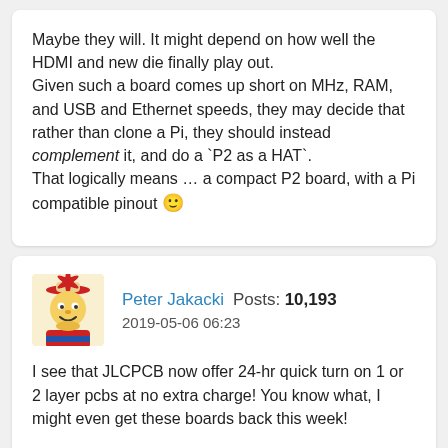Maybe they will. It might depend on how well the HDMI and new die finally play out.
Given such a board comes up short on MHz, RAM, and USB and Ethernet speeds, they may decide that rather than clone a Pi, they should instead complement it, and do a `P2 as a HAT`.
That logically means … a compact P2 board, with a Pi compatible pinout 🙂
Peter Jakacki  Posts: 10,193  2019-05-06 06:23
I see that JLCPCB now offer 24-hr quick turn on 1 or 2 layer pcbs at no extra charge! You know what, I might even get these boards back this week!
I moved the USB connector a little closer to the edge and it's only the cables that don't fit many devices that might